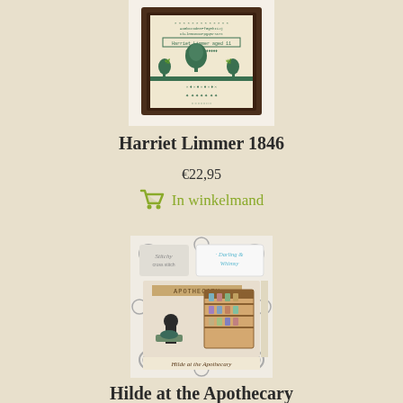[Figure (photo): Cross stitch sampler in dark wood frame showing alphabet, name banner reading 'Harriet Limmer aged 11', decorative tree motif with side trees, and ornamental border patterns on cream fabric]
Harriet Limmer 1846
€22,95
In winkelmand
[Figure (photo): Cross stitch pattern book cover for 'Hilde at the Apothecary' by Darling & Whimsy, showing a witch silhouette at a cauldron next to an apothecary shelf filled with colorful bottles, surrounded by decorative swirl patterns]
Hilde at the Apothecary